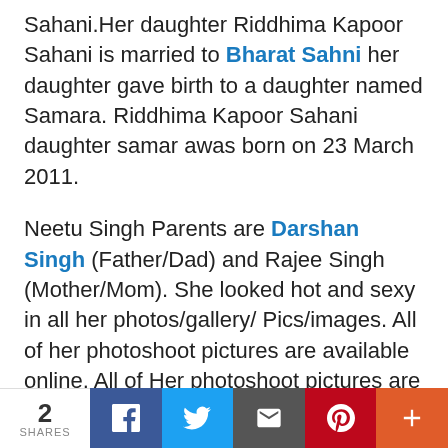Sahani.Her daughter Riddhima Kapoor Sahani is married to Bharat Sahni her daughter gave birth to a daughter named Samara. Riddhima Kapoor Sahani daughter samar awas born on 23 March 2011.
Neetu Singh Parents are Darshan Singh (Father/Dad) and Rajee Singh (Mother/Mom). She looked hot and sexy in all her photos/gallery/ Pics/images. All of her photoshoot pictures are available online. All of Her photoshoot pictures are available online. She follows Sikh as Her religion. She appeared in movies/films. Her movies/films list is given below.
Some of Her popular Movies are Do Dooni Chaar, Khat Khat Main and Kabhie Kabhie. She is best...
2 SHARES | Facebook | Twitter | Email | Pinterest | More